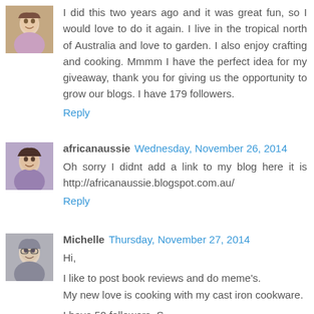[Figure (photo): Small avatar photo of a person, top comment]
I did this two years ago and it was great fun, so I would love to do it again. I live in the tropical north of Australia and love to garden. I also enjoy crafting and cooking. Mmmm I have the perfect idea for my giveaway, thank you for giving us the opportunity to grow our blogs. I have 179 followers.
Reply
[Figure (photo): Small avatar photo of africanaussie]
africanaussie  Wednesday, November 26, 2014
Oh sorry I didnt add a link to my blog here it is http://africanaussie.blogspot.com.au/
Reply
[Figure (photo): Small avatar photo of Michelle]
Michelle  Thursday, November 27, 2014
Hi,
I like to post book reviews and do meme's.
My new love is cooking with my cast iron cookware.
I have 50 followers. S...